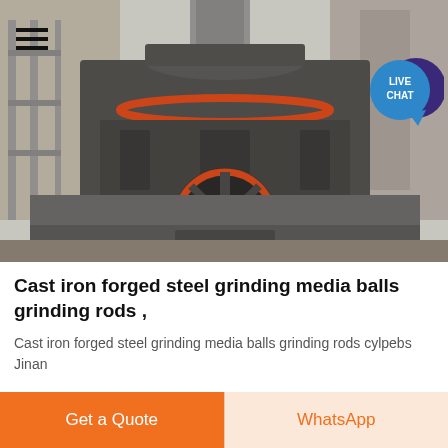[Figure (photo): Industrial grinding machine / crusher equipment in a factory setting. Large dark metal machine with cylindrical components, belt drive pulley visible at bottom, industrial scaffolding in background. A hamburger menu icon is in the top-left and a LIVE CHAT speech bubble icon is in the top-right.]
Cast iron forged steel grinding media balls grinding rods ,
Cast iron forged steel grinding media balls grinding rods cylpebs Jinan
Get a Quote
WhatsApp